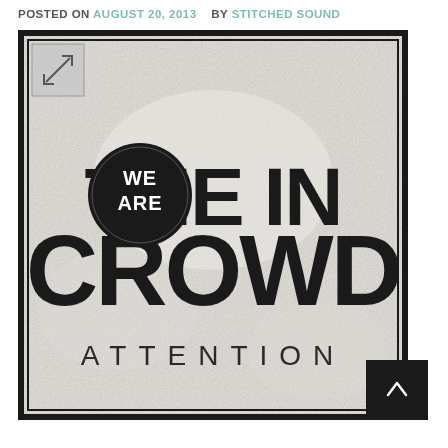POSTED ON AUGUST 20, 2013   BY STITCHED SOUND
[Figure (illustration): Album art for 'We Are the In Crowd – Attention'. Black and white textured square artwork with bold typography. Large circular badge reads 'WE ARE' at top left, followed by 'THE IN' and 'CROWD' in massive block letters. Below in wide-spaced sans-serif: 'ATTENTION'. Small expand icon in upper left corner. Dark scroll-to-top button in lower right corner.]